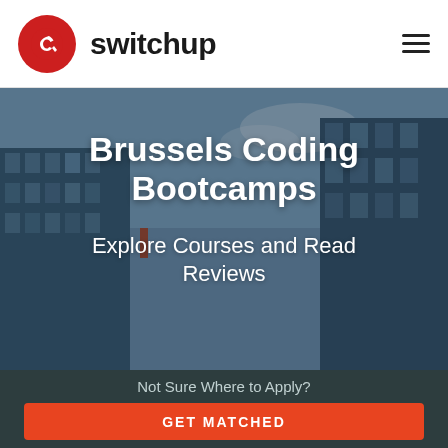switchup
Brussels Coding Bootcamps
Explore Courses and Read Reviews
Not Sure Where to Apply?
GET MATCHED